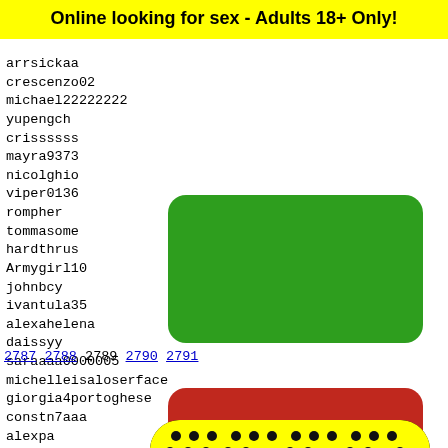Online looking for sex - Adults 18+ Only!
arrsickaa
crescenzo02
michael22222222
yupengch
crissssss
mayra9373
nicolghio
viper0136
rompher
tommasome
hardthrus
Armygirl10
johnbcy
ivantula35
alexahelena
daissyy
saraaaa0000005
michelleisaloserface
giorgia4portoghese
constn7aaa
alexpa
rochad
gufofe
albi22
nataly
callie
[Figure (other): Green rounded rectangle button]
[Figure (other): Red rounded rectangle EXIT button]
2787 2788 2789 2790 2791
[Figure (other): Snapchat-style yellow ghost icon with black border and dot pattern on yellow background]